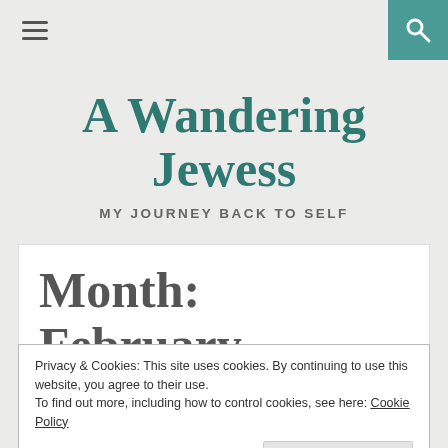≡  🔍
A Wandering Jewess
MY JOURNEY BACK TO SELF
Month: February
Privacy & Cookies: This site uses cookies. By continuing to use this website, you agree to their use.
To find out more, including how to control cookies, see here: Cookie Policy
Close and accept